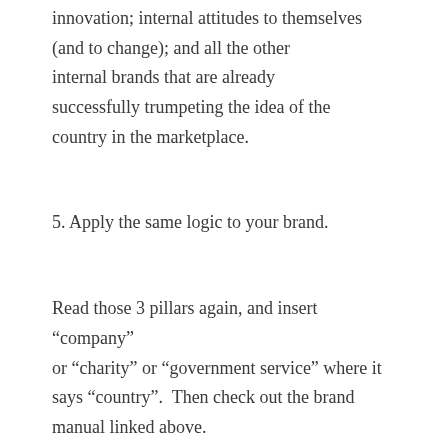innovation; internal attitudes to themselves (and to change); and all the other internal brands that are already successfully trumpeting the idea of the country in the marketplace.
5. Apply the same logic to your brand.
Read those 3 pillars again, and insert “company” or “charity” or “government service” where it says “country”.  Then check out the brand manual linked above.
So ask yourself:How are you doing?